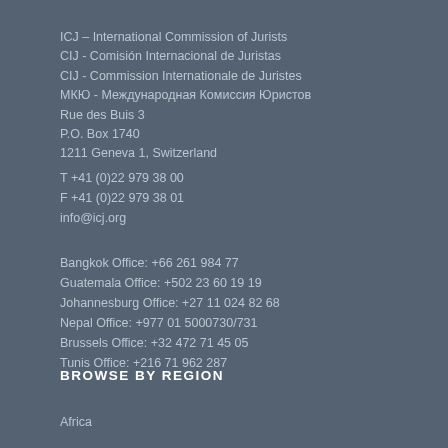ICJ – International Commission of Jurists
CIJ - Comisión Internacional de Juristas
CIJ - Commission Internationale de Juristes
МКЮ - Международная Комиссия Юристов
Rue des Buis 3
P.O. Box 1740
1211 Geneva 1, Switzerland
T +41 (0)22 979 38 00
F +41 (0)22 979 38 01
info@icj.org
Bangkok Office: +66 261 984 77
Guatemala Office: +502 23 60 19 19
Johannesburg Office: +27 11 024 82 68
Nepal Office: +977 01 5000730/731
Brussels Office: +32 472 71 45 05
Tunis Office: +216 71 962 287
BROWSE BY REGION
Africa